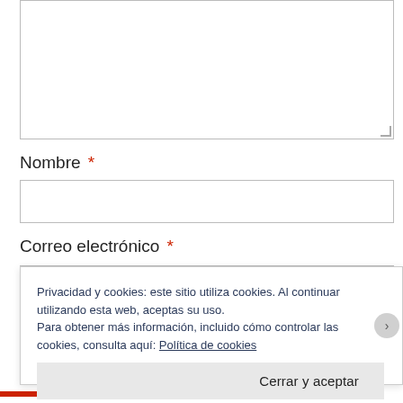[Figure (screenshot): Empty textarea input field with resize handle in bottom right corner]
Nombre *
[Figure (screenshot): Empty text input field for Nombre]
Correo electrónico *
[Figure (screenshot): Cookie consent banner: 'Privacidad y cookies: este sitio utiliza cookies. Al continuar utilizando esta web, aceptas su uso. Para obtener más información, incluido cómo controlar las cookies, consulta aquí: Política de cookies' with 'Cerrar y aceptar' button]
INFORMAR SOBRE ESTA ANUNCIO